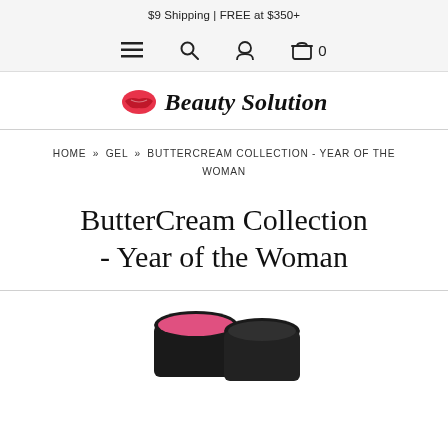$9 Shipping | FREE at $350+
[Figure (screenshot): Navigation bar with hamburger menu, search icon, account icon, and cart icon with count 0]
[Figure (logo): Beauty Solution logo with red lips icon and italic bold text 'Beauty Solution']
HOME » GEL » BUTTERCREAM COLLECTION - YEAR OF THE WOMAN
ButterCream Collection - Year of the Woman
[Figure (photo): Partial product images of two round nail gel containers visible at the bottom of the page]